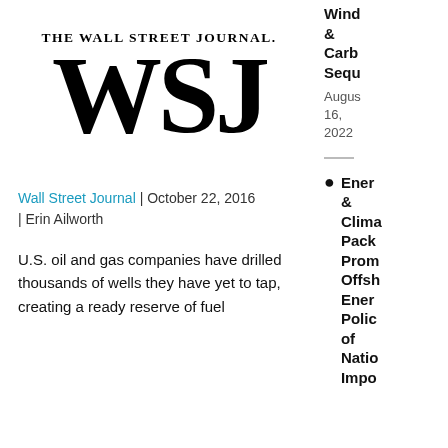[Figure (logo): The Wall Street Journal logo showing 'THE WALL STREET JOURNAL.' in small caps above large bold 'WSJ' letters]
Wall Street Journal | October 22, 2016 | Erin Ailworth
U.S. oil and gas companies have drilled thousands of wells they have yet to tap, creating a ready reserve of fuel
Wind & Carbon Sequ
August 16, 2022
Ener & Clima Pack Prom Offsh Ener Polic of Natio Impo